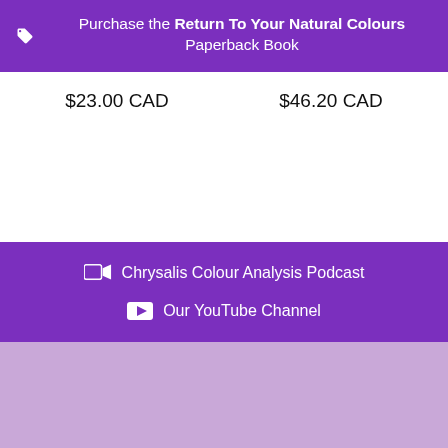Purchase the Return To Your Natural Colours Paperback Book
$23.00 CAD     $46.20 CAD
Chrysalis Colour Analysis Podcast
Our YouTube Channel